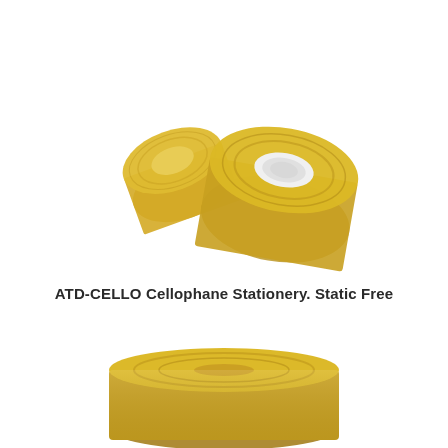[Figure (photo): Two rolls of yellowish-amber cellophane tape standing upright, leaning against each other on a white background. The larger roll shows a white plastic core, and both rolls display the characteristic amber/golden color of cellophane tape.]
ATD-CELLO Cellophane Stationery. Static Free
[Figure (photo): Close-up of a single roll of yellowish-amber cellophane tape viewed from the front, showing the width and amber color of the tape roll on a white background.]